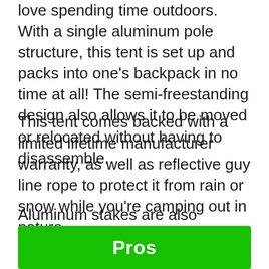love spending time outdoors. With a single aluminum pole structure, this tent is set up and packs into one's backpack in no time at all! The semi-freestanding design also allows it to be moved or relocated without having to disassemble.
This tent comes backed with a limited lifetime manufacturer warranty, as well as reflective guy line rope to protect it from rain or snow while you're camping out in nature.
Aluminum stakes are also included so that your tent stays firmly planted on any terrain.
Pros